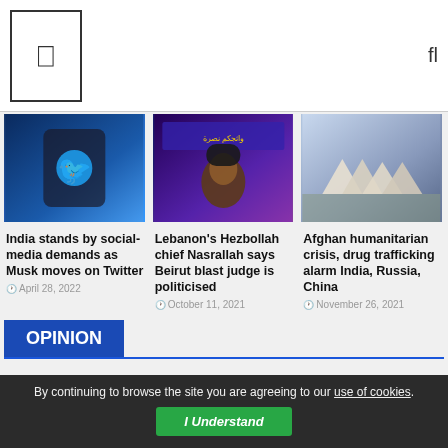[Logo] [Search icon]
[Figure (photo): Hand holding a smartphone showing Twitter blue bird logo]
India stands by social-media demands as Musk moves on Twitter
April 28, 2022
[Figure (photo): Lebanon's Hezbollah chief Nasrallah speaking at podium with Arabic text banner behind]
Lebanon's Hezbollah chief Nasrallah says Beirut blast judge is politicised
October 11, 2021
[Figure (photo): Aerial view of refugee tents and people in Afghan humanitarian crisis]
Afghan humanitarian crisis, drug trafficking alarm India, Russia, China
November 26, 2021
OPINION
By continuing to browse the site you are agreeing to our use of cookies.
I Understand